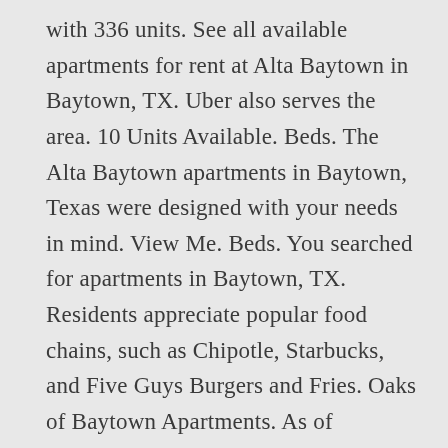with 336 units. See all available apartments for rent at Alta Baytown in Baytown, TX. Uber also serves the area. 10 Units Available. Beds. The Alta Baytown apartments in Baytown, Texas were designed with your needs in mind. View Me. Beds. You searched for apartments in Baytown, TX. Residents appreciate popular food chains, such as Chipotle, Starbucks, and Five Guys Burgers and Fries. Oaks of Baytown Apartments. As of December 2020, the average apartment rent in Baytown, TX is $587 for a studio, $1,029 for one bedroom, $1,032 for two bedrooms, and $1,204 for three bedrooms. Please try again later. We had some problems performing your search. If you are at an office